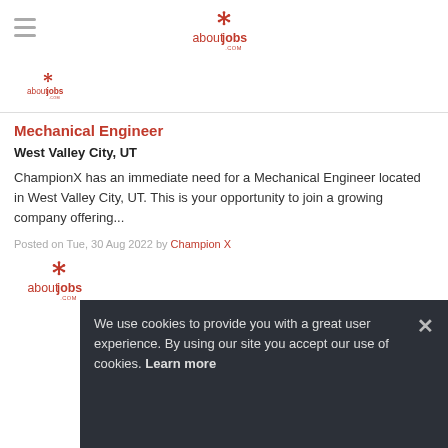aboutjobs.com (navigation header with logo)
[Figure (logo): aboutjobs.com logo with stylized asterisk icon in orange-red, text 'aboutjobs' with bold lowercase and '.COM' below]
[Figure (logo): Small aboutjobs.com logo in orange-red, secondary navigation row]
Mechanical Engineer
West Valley City, UT
ChampionX has an immediate need for a Mechanical Engineer located in West Valley City, UT. This is your opportunity to join a growing company offering...
Posted on Tue, 30 Aug 2022 by Champion X
[Figure (logo): aboutjobs.com logo, orange-red color, medium size]
We use cookies to provide you with a great user experience. By using our site you accept our use of cookies. Learn more